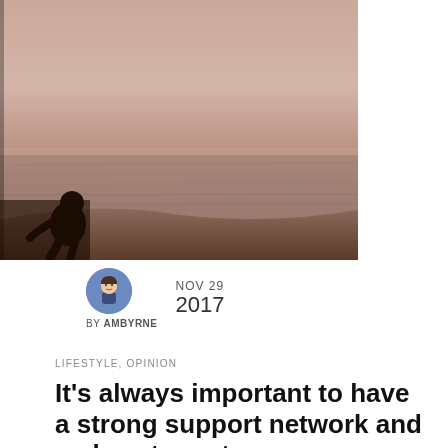[Figure (photo): Sepia-toned photograph of a person's silhouette sitting on a sandy dune overlooking a calm sea or large body of water, with a hazy horizon.]
BY AMBYRNE
NOV 29
2017
LIFESTYLE, OPINION
It's always important to have a strong support network and a place to rest